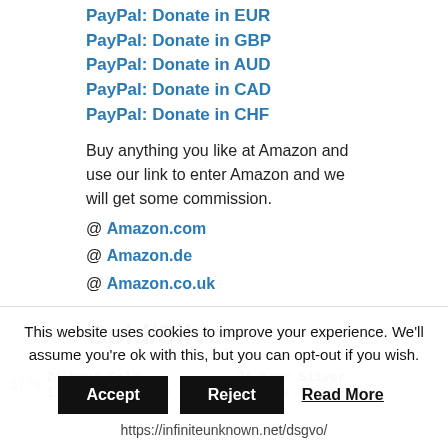PayPal: Donate in EUR
PayPal: Donate in GBP
PayPal: Donate in AUD
PayPal: Donate in CAD
PayPal: Donate in CHF
Buy anything you like at Amazon and use our link to enter Amazon and we will get some commission.
@ Amazon.com
@ Amazon.de
@ Amazon.co.uk
Gold/Silver
[Figure (screenshot): 24 hour Gold price ticker showing 1763.80 with +12.30 change, and 24 hour Silver ticker showing 19.32 with +0.21 change]
This website uses cookies to improve your experience. We'll assume you're ok with this, but you can opt-out if you wish.
Accept  Reject  Read More
https://infiniteunknown.net/dsgvo/